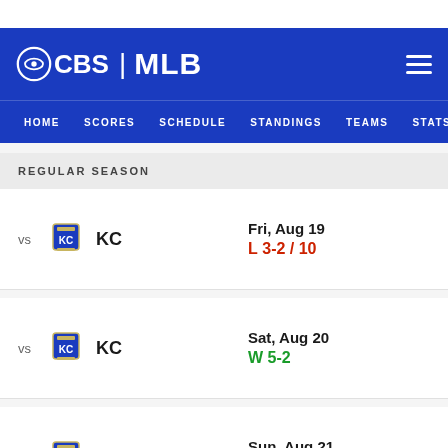CBS | MLB
HOME  SCORES  SCHEDULE  STANDINGS  TEAMS  STATS
REGULAR SEASON
vs KC — Fri, Aug 19 — L 3-2 / 10
vs KC — Sat, Aug 20 — W 5-2
vs KC — Sun, Aug 21 — W 3-2
vs LAA — Mon, Aug 22 — W 2-1